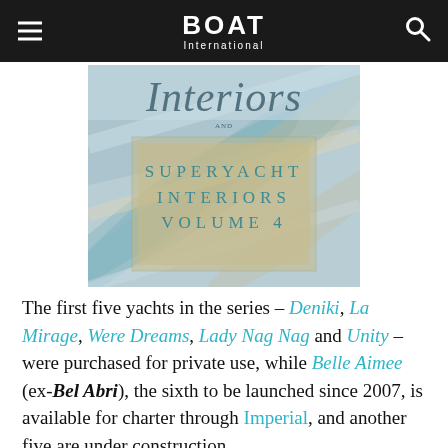BOAT International
[Figure (photo): Book cover showing 'Interiors' title at top and a box reading 'SUPERYACHT INTERIORS VOLUME 4' overlaid on abstract tropical leaf design in teal, blue, and gold tones.]
The first five yachts in the series – Deniki, La Mirage, Were Dreams, Lady Nag Nag and Unity – were purchased for private use, while Belle Aimee (ex-Bel Abri), the sixth to be launched since 2007, is available for charter through Imperial, and another five are under construction.